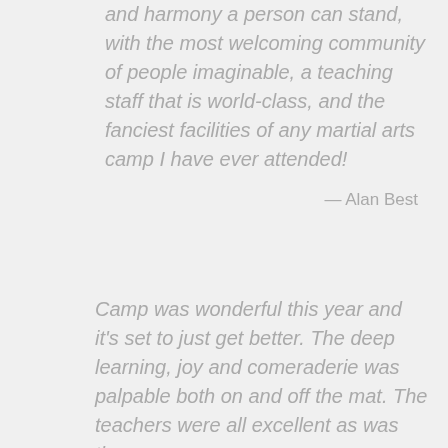and harmony a person can stand, with the most welcoming community of people imaginable, a teaching staff that is world-class, and the fanciest facilities of any martial arts camp I have ever attended!
— Alan Best
Camp was wonderful this year and it's set to just get better. The deep learning, joy and comeraderie was palpable both on and off the mat. The teachers were all excellent as was the